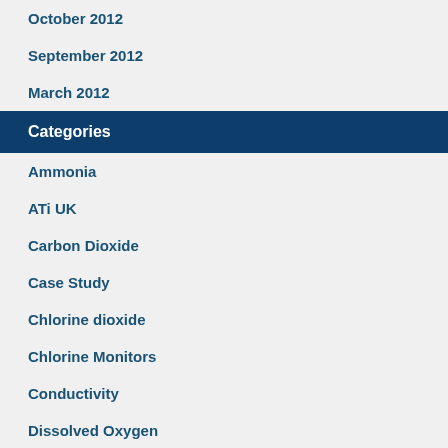October 2012
September 2012
March 2012
Categories
Ammonia
ATi UK
Carbon Dioxide
Case Study
Chlorine dioxide
Chlorine Monitors
Conductivity
Dissolved Oxygen
Dissolved Sulphide
Drinking Water
Gas Monitoring